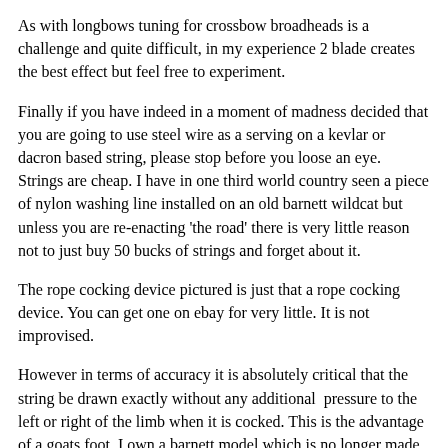As with longbows tuning for crossbow broadheads is a challenge and quite difficult, in my experience 2 blade creates the best effect but feel free to experiment.
Finally if you have indeed in a moment of madness decided that you are going to use steel wire as a serving on a kevlar or dacron based string, please stop before you loose an eye. Strings are cheap. I have in one third world country seen a piece of nylon washing line installed on an old barnett wildcat but unless you are re-enacting 'the road' there is very little reason not to just buy 50 bucks of strings and forget about it.
The rope cocking device pictured is just that a rope cocking device. You can get one on ebay for very little. It is not improvised.
However in terms of accuracy it is absolutely critical that the string be drawn exactly without any additional  pressure to the left or right of the limb when it is cocked. This is the advantage of a goats foot. I own a barnett model which is no longer made, an ugly thing in white aluminium. Similarly cant is an accuracy destroyer and a spirit lever is a good extra. Scopes and red dots are fairly pointless. If you can't see 60 Meters then a large moa glowing red dot is certainly not going to assist you.
Archery clubs do not like crossbows. There is a good reason for